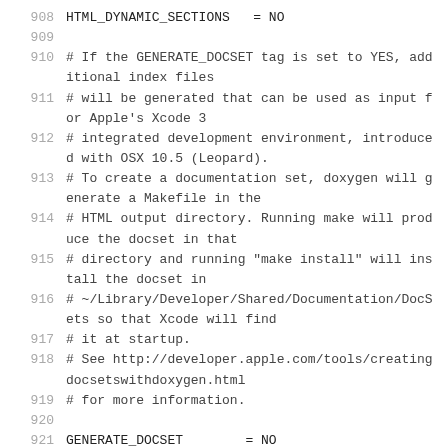908    HTML_DYNAMIC_SECTIONS   = NO
909
910    # If the GENERATE_DOCSET tag is set to YES, additional index files
911    # will be generated that can be used as input for Apple's Xcode 3
912    # integrated development environment, introduced with OSX 10.5 (Leopard).
913    # To create a documentation set, doxygen will generate a Makefile in the
914    # HTML output directory. Running make will produce the docset in that
915    # directory and running "make install" will install the docset in
916    # ~/Library/Developer/Shared/Documentation/DocSets so that Xcode will find
917    # it at startup.
918    # See http://developer.apple.com/tools/creatingdocsetswithdoxygen.html
919    # for more information.
920
921    GENERATE_DOCSET        = NO